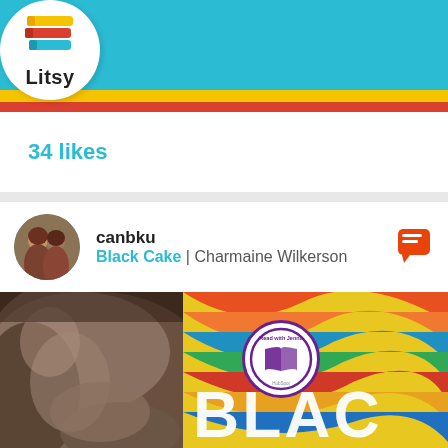[Figure (screenshot): Litsy app logo with stacked books icon and 'Litsy' text in white circle]
[Figure (screenshot): Litsy app navigation bar in teal/cyan with home, search, plus, lightning, and profile icons]
34 likes
canbku
Black Cake | Charmaine Wilkerson
[Figure (photo): Photo of a cat next to a person holding the book 'Black Cake' with colorful swirling cover design and a 'Read with Jenna' book club sticker. The letters BLA C are visible on the cover.]